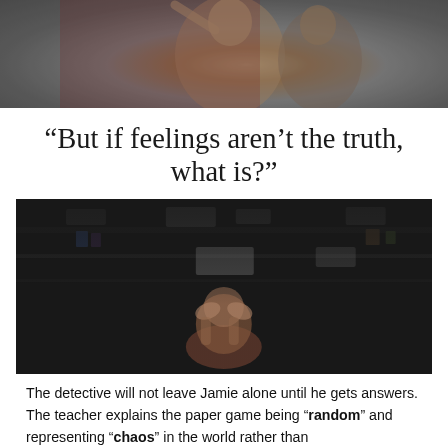[Figure (photo): Two people smiling, one raising their arm, in what appears to be an indoor setting with a red background.]
“But if feelings aren’t the truth, what is?”
[Figure (photo): A person sitting with their head in their hands in a dark room, appearing distressed.]
The detective will not leave Jamie alone until he gets answers. The teacher explains the paper game being “random” and representing “chaos” in the world rather than...